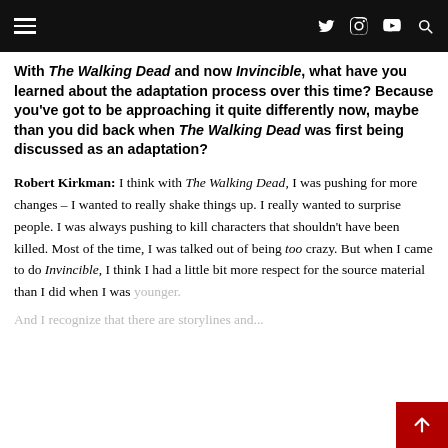Navigation header with hamburger menu and social icons (Twitter, Instagram, YouTube, Search)
With The Walking Dead and now Invincible, what have you learned about the adaptation process over this time? Because you've got to be approaching it quite differently now, maybe than you did back when The Walking Dead was first being discussed as an adaptation?
Robert Kirkman: I think with The Walking Dead, I was pushing for more changes – I wanted to really shake things up. I really wanted to surprise people. I was always pushing to kill characters that shouldn't have been killed. Most of the time, I was talked out of being too crazy. But when I came to do Invincible, I think I had a little bit more respect for the source material than I did when I was younger.

And I recognize that there are storylines and...